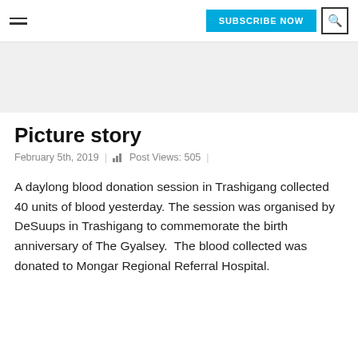SUBSCRIBE NOW | [search]
[Figure (other): Light grey advertisement or banner placeholder area]
Picture story
February 5th, 2019  |  Post Views: 505
A daylong blood donation session in Trashigang collected 40 units of blood yesterday. The session was organised by DeSuups in Trashigang to commemorate the birth anniversary of The Gyalsey.  The blood collected was donated to Mongar Regional Referral Hospital.